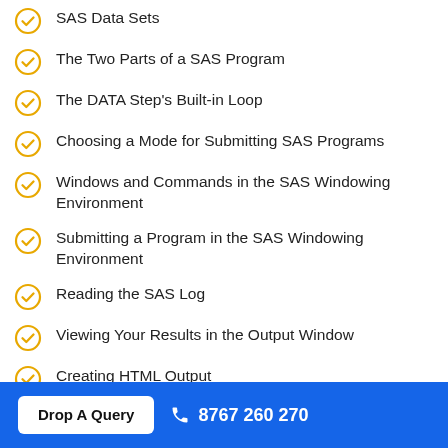SAS Data Sets
The Two Parts of a SAS Program
The DATA Step's Built-in Loop
Choosing a Mode for Submitting SAS Programs
Windows and Commands in the SAS Windowing Environment
Submitting a Program in the SAS Windowing Environment
Reading the SAS Log
Viewing Your Results in the Output Window
Creating HTML Output
SAS Data Libraries
Viewing Data Sets with SAS Explorer
Using SAS System Options
Drop A Query   8767 260 270